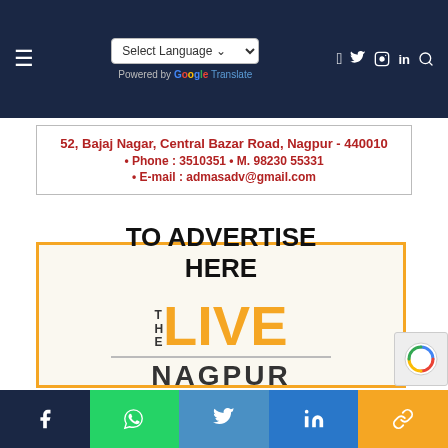Navigation bar with hamburger menu, Select Language dropdown (Google Translate), and social icons (Facebook, Twitter, Instagram, LinkedIn, Search)
52, Bajaj Nagar, Central Bazar Road, Nagpur - 440010 • Phone : 3510351 • M. 98230 55331 • E-mail : admasadv@gmail.com
[Figure (infographic): Advertisement box with orange border saying TO ADVERTISE HERE with The Live Nagpur logo and www.thelivenagpur.com]
Social share buttons: Facebook, WhatsApp, Twitter, LinkedIn, Copy Link